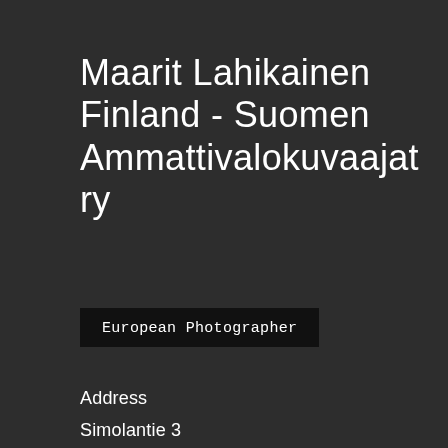Maarit Lahikainen Finland - Suomen Ammattivalokuvaajat ry
European Photographer
Address
Simolantie 3
51200
Kangasniemi
Finland